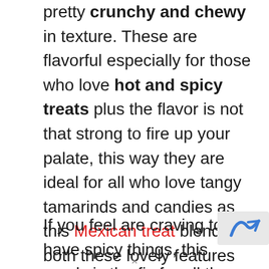pretty crunchy and chewy in texture. These are flavorful especially for those who love hot and spicy treats plus the flavor is not that strong to fire up your palate, this way they are ideal for all who love tangy tamarinds and candies as this Mexican treat blends both these lovely features together to make it too enticing to resist ourselves!
If you feel are craving to have spicy things, this candy is the fix for all those times!